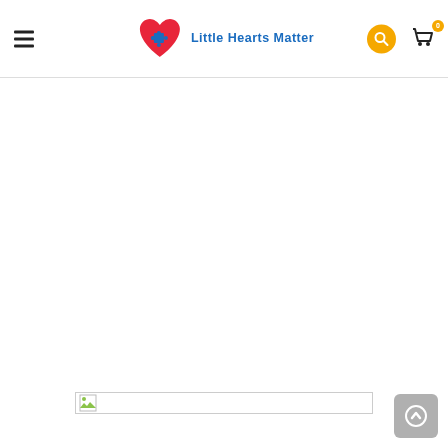Little Hearts Matter — website header with hamburger menu, logo, search and cart icons
[Figure (screenshot): Broken/placeholder image thumbnail with a small image icon at bottom of page]
[Figure (other): Scroll-to-top circular arrow button in grey rounded square]